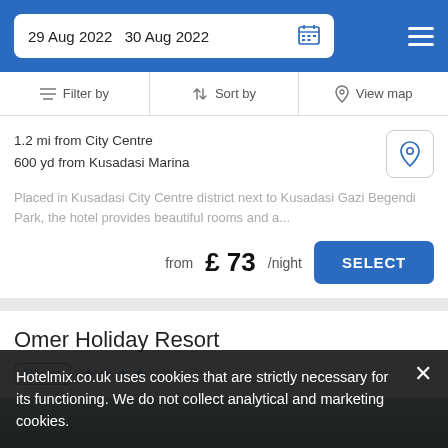29 Aug 2022   30 Aug 2022
Filter by   Sort by   View map
1.2 mi from City Centre
600 yd from Kusadasi Marina
Placed in Kusadasi City Centre district next to Kusadasi Gazi Begendi Park, the hotel provides beautiful rooms and a...
from £ 73/night
Omer Holiday Resort
Resort  ★★★★
Hotelmix.co.uk uses cookies that are strictly necessary for its functioning. We do not collect analytical and marketing cookies.